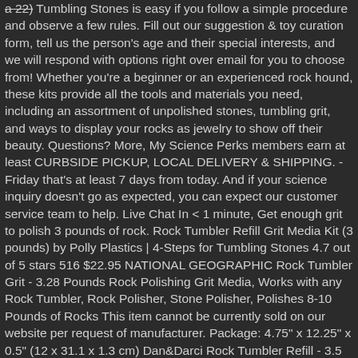stones is easy if you follow a simple procedure and observe a few rules. Fill out our suggestion & toy curation form, tell us the person's age and their special interests, and we will respond with options right over email for you to choose from! Whether you're a beginner or an experienced rock hound, these kits provide all the tools and materials you need, including an assortment of unpolished stones, tumbling grit, and ways to display your rocks as jewelry to show off their beauty. Questions? More, My Science Perks members earn at least CURBSIDE PICKUP, LOCAL DELIVERY & SHIPPING. - Friday that's at least 7 days from today. And if your science inquiry doesn't go as expected, you can expect our customer service team to help. Live Chat In < 1 minute, Get enough grit to polish 3 pounds of rock. Rock Tumbler Refill Grit Media Kit (3 pounds) by Polly Plastics | 4-Steps for Tumbling Stones 4.7 out of 5 stars 516 $22.95 NATIONAL GEOGRAPHIC Rock Tumbler Grit - 3.28 Pounds Rock Polishing Grit Media, Works with any Rock Tumbler, Rock Polisher, Stone Polisher, Polishes 8-10 Pounds of Rocks This item cannot be currently sold on our website per request of manufacturer. Package: 4.75" x 12.25" x 0.5" (12 x 31.1 x 1.3 cm) Dan&Darci Rock Tumbler Refill - 3.5 Pounds Tumbling Grits